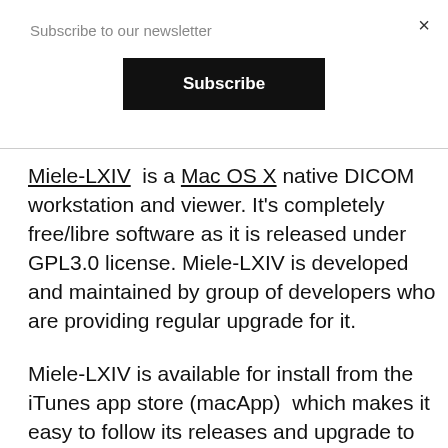Subscribe to our newsletter
Subscribe
Miele-LXIV is a Mac OS X native DICOM workstation and viewer. It's completely free/libre software as it is released under GPL3.0 license. Miele-LXIV is developed and maintained by group of developers who are providing regular upgrade for it.
Miele-LXIV is available for install from the iTunes app store (macApp)  which makes it easy to follow its releases and upgrade to the latest  release with one click